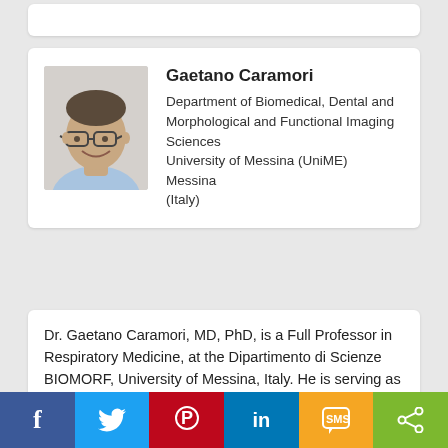[Figure (photo): Partial white card visible at the top of the page]
[Figure (photo): Headshot photo of Gaetano Caramori, a middle-aged man wearing glasses and a light blue shirt, smiling]
Gaetano Caramori
Department of Biomedical, Dental and Morphological and Functional Imaging Sciences
University of Messina (UniME)
Messina
(Italy)
Dr. Gaetano Caramori, MD, PhD, is a Full Professor in Respiratory Medicine, at the Dipartimento di Scienze BIOMORF, University of Messina, Italy. He is serving as Head of the Pulmonology Unit at the University Hospital Gaetano Martino, and also Head of the Specialization School in Respiratory Diseases at the University of Messina, Italy. Dr. Gaetano Caramori is an honorary staff member at the Airway Disease Section of the National Heart and Lung Institute, Imperial College of London, UK, since 2001. He has published about 160 articles in International
f  [Twitter]  [Pinterest]  in  SMS  [Share]